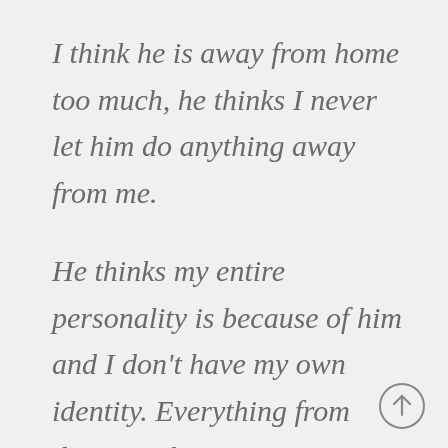I think he is away from home too much, he thinks I never let him do anything away from me.
He thinks my entire personality is because of him and I don't have my own identity. Everything from dying my hair to